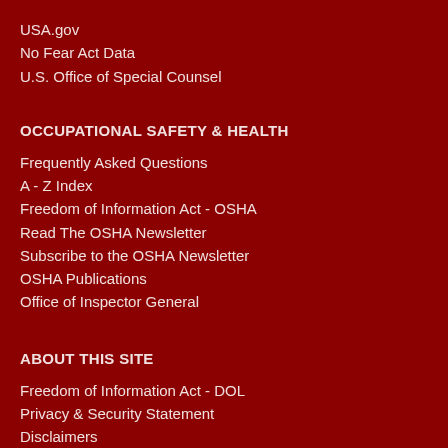USA.gov
No Fear Act Data
U.S. Office of Special Counsel
OCCUPATIONAL SAFETY & HEALTH
Frequently Asked Questions
A - Z Index
Freedom of Information Act - OSHA
Read The OSHA Newsletter
Subscribe to the OSHA Newsletter
OSHA Publications
Office of Inspector General
ABOUT THIS SITE
Freedom of Information Act - DOL
Privacy & Security Statement
Disclaimers